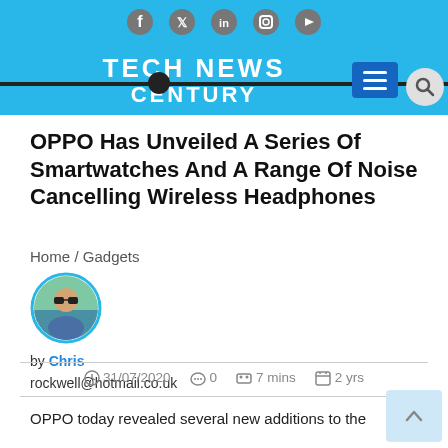TECH NEWS CENTURY — website header with social icons (Facebook, Twitter, LinkedIn, Instagram, YouTube), menu button, and search icon
OPPO Has Unveiled A Series Of Smartwatches And A Range Of Noise Cancelling Wireless Headphones
Home / Gadgets
by Chris
rockwell@hotmail.co.uk
31/07/2020   0   7 mins   2 yrs
OPPO today revealed several new additions to the